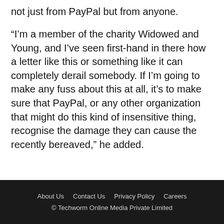not just from PayPal but from anyone.
“I’m a member of the charity Widowed and Young, and I’ve seen first-hand in there how a letter like this or something like it can completely derail somebody. If I’m going to make any fuss about this at all, it’s to make sure that PayPal, or any other organization that might do this kind of insensitive thing, recognise the damage they can cause the recently bereaved,” he added.
About Us  Contact Us  Privacy Policy  Careers
© Techworm Online Media Private Limited